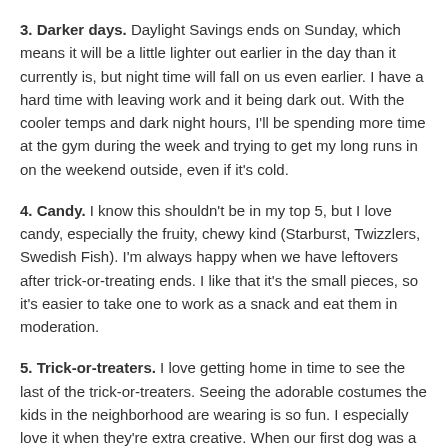3. Darker days. Daylight Savings ends on Sunday, which means it will be a little lighter out earlier in the day than it currently is, but night time will fall on us even earlier. I have a hard time with leaving work and it being dark out. With the cooler temps and dark night hours, I'll be spending more time at the gym during the week and trying to get my long runs in on the weekend outside, even if it's cold.
4. Candy. I know this shouldn't be in my top 5, but I love candy, especially the fruity, chewy kind (Starburst, Twizzlers, Swedish Fish). I'm always happy when we have leftovers after trick-or-treating ends. I like that it's the small pieces, so it's easier to take one to work as a snack and eat them in moderation.
5. Trick-or-treaters. I love getting home in time to see the last of the trick-or-treaters. Seeing the adorable costumes the kids in the neighborhood are wearing is so fun. I especially love it when they're extra creative. When our first dog was a puppy, she was able to fit into a large dog sized costume that was a monkey. She looked a bit more like a